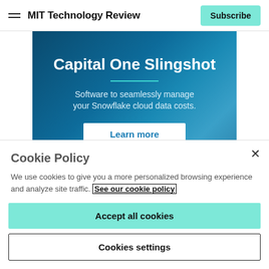MIT Technology Review | Subscribe
[Figure (other): Capital One Slingshot advertisement banner with dark blue gradient background. Headline: 'Capital One Slingshot', subheadline: 'Software to seamlessly manage your Snowflake cloud data costs.', and a 'Learn more' button.]
Cookie Policy
We use cookies to give you a more personalized browsing experience and analyze site traffic. See our cookie policy
Accept all cookies
Cookies settings